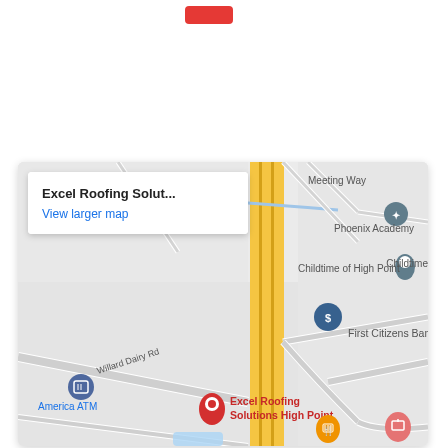[Figure (map): Google Maps screenshot showing Excel Roofing Solutions High Point location. Map displays surrounding area with streets including Willard Dairy Rd and Meeting Way, landmarks including Phoenix Academy, Childtime of High Point, First Citizens Bank, America ATM, and a red pin marking Excel Roofing Solutions High Point. A yellow highway runs vertically through the map. An info box overlay shows 'Excel Roofing Solut...' and 'View larger map' link.]